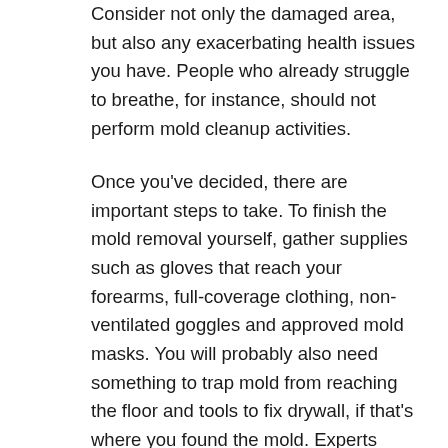Consider not only the damaged area, but also any exacerbating health issues you have. People who already struggle to breathe, for instance, should not perform mold cleanup activities.
Once you've decided, there are important steps to take. To finish the mold removal yourself, gather supplies such as gloves that reach your forearms, full-coverage clothing, non-ventilated goggles and approved mold masks. You will probably also need something to trap mold from reaching the floor and tools to fix drywall, if that's where you found the mold. Experts agree that you should not leave drywall that has mold on it anywhere you find it because it can't be cleaned thoroughly. Just don't clean with bleach, especially if you're dealing with a substantial mold damage problem. It's mostly unsuccessful for any porous surfaces, afterall, and only partially effective on hard ones. It's also potentially toxic because it can cause fumes and should not be mixed with ammonia-based cleaners such as